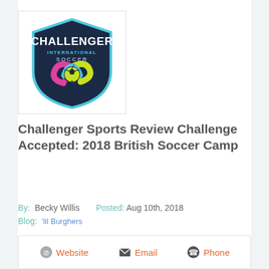[Figure (logo): Challenger International Soccer shield logo with dark navy background, light blue border, white CHALLENGER text, teal INTERNATIONAL text, grey SOCCER text, swirling yellow/lime, pink, and blue arrows around a yellow soccer ball]
Challenger Sports Review Challenge Accepted: 2018 British Soccer Camp
By: Becky Willis   Posted: Aug 10th, 2018
Blog: 'lil Burghers
Website   Email   Phone